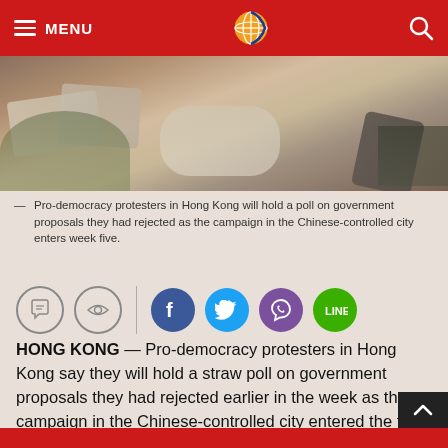MENU [hamburger icon] [globe logo] [search icon]
[Figure (photo): Pro-democracy protesters lying on the ground in Hong Kong, viewed from above, with newspapers and belongings around them.]
— Pro-democracy protesters in Hong Kong will hold a poll on government proposals they had rejected as the campaign in the Chinese-controlled city enters week five.
[Figure (infographic): Social sharing icons row: comment bubble, eye/watch, vertical divider, Facebook, Twitter, Viber, Line]
HONG KONG — Pro-democracy protesters in Hong Kong say they will hold a straw poll on government proposals they had rejected earlier in the week as the campaign in the Chinese-controlled city entered the fifth week on Friday.